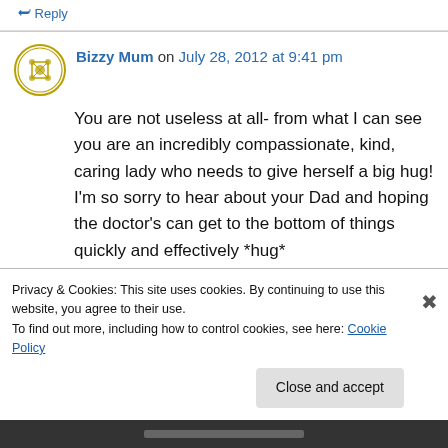↳ Reply
Bizzy Mum on July 28, 2012 at 9:41 pm
You are not useless at all- from what I can see you are an incredibly compassionate, kind, caring lady who needs to give herself a big hug! I'm so sorry to hear about your Dad and hoping the doctor's can get to the bottom of things quickly and effectively *hug*
Privacy & Cookies: This site uses cookies. By continuing to use this website, you agree to their use.
To find out more, including how to control cookies, see here: Cookie Policy
Close and accept